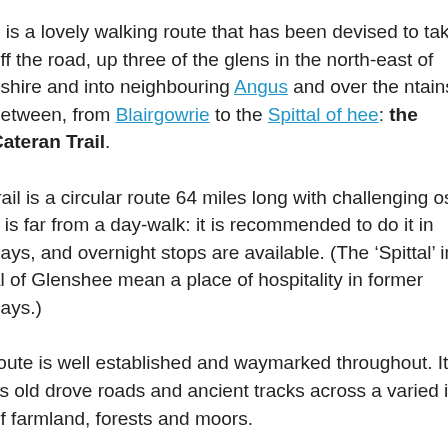e is a lovely walking route that has been devised to take off the road, up three of the glens in the north-east of nshire and into neighbouring Angus and over the ntains between, from Blairgowrie to the Spittal of hee: the Cateran Trail.
trail is a circular route 64 miles long with challenging os: it is far from a day-walk: it is recommended to do it in days, and overnight stops are available. (The ‘Spittal’ in al of Glenshee mean a place of hospitality in former days.)
route is well established and waymarked throughout. It vs old drove roads and ancient tracks across a varied in of farmland, forests and moors.